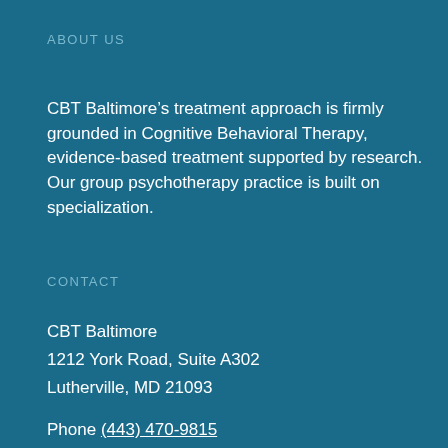ABOUT US
CBT Baltimore’s treatment approach is firmly grounded in Cognitive Behavioral Therapy, evidence-based treatment supported by research. Our group psychotherapy practice is built on specialization.
CONTACT
CBT Baltimore
1212 York Road, Suite A302
Lutherville, MD 21093
Phone (443) 470-9815